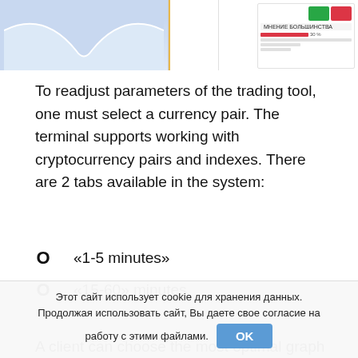[Figure (screenshot): Top portion showing two screenshot images from a trading terminal interface — left side shows a light blue chart/graph area, right side shows a panel with green and red buttons and bar indicators]
To readjust parameters of the trading tool, one must select a currency pair. The terminal supports working with cryptocurrency pairs and indexes. There are 2 tabs available in the system:
«1-5 minutes»
«15-60» minutes.
A client can choose the most optimal graph display
Этот сайт использует cookie для хранения данных. Продолжая использовать сайт, Вы даете свое согласие на работу с этими файлами.